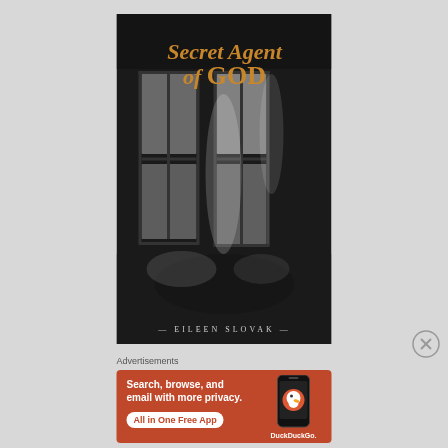[Figure (illustration): Book cover for 'Secret Agent of GOD' by Eileen Slovak. Dark background with black and white photo of window with light streaming through. Title text in gold/orange serif font at top. Author name at bottom in small spaced letters.]
Advertisements
[Figure (infographic): DuckDuckGo advertisement banner on orange/red background. Left side shows text: 'Search, browse, and email with more privacy.' with white pill button 'All in One Free App'. Right side shows a smartphone with DuckDuckGo logo and text 'DuckDuckGo.']